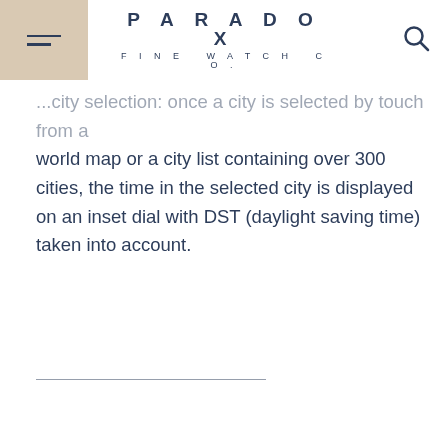PARADOX FINE WATCH CO.
...city selection: once a city is selected by touch from a world map or a city list containing over 300 cities, the time in the selected city is displayed on an inset dial with DST (daylight saving time) taken into account.